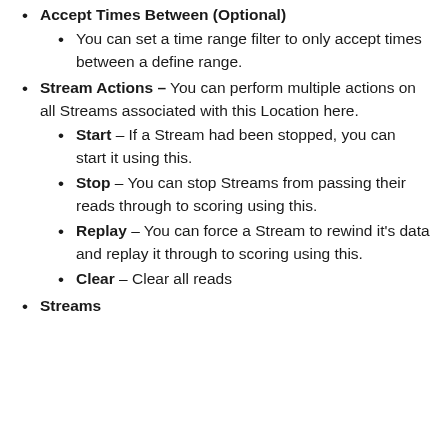Accept Times Between (Optional)
You can set a time range filter to only accept times between a define range.
Stream Actions – You can perform multiple actions on all Streams associated with this Location here.
Start – If a Stream had been stopped, you can start it using this.
Stop – You can stop Streams from passing their reads through to scoring using this.
Replay – You can force a Stream to rewind it's data and replay it through to scoring using this.
Clear – Clear all reads
Streams